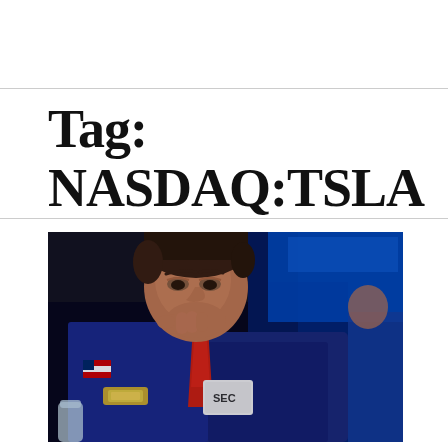Tag: NASDAQ:TSLA
[Figure (photo): A stock trader or broker wearing a blue jacket with an American flag patch and a red tie, resting his chin on his hand in a contemplative or worried pose, photographed on a trading floor with blue-lit background screens.]